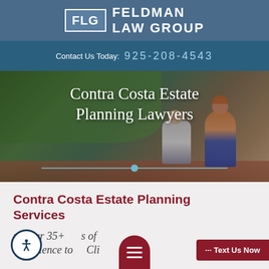FLG Feldman Law Group
Contact Us Today: 925-208-4543
[Figure (photo): Hero photo showing a person helping an elderly person in a garden/outdoor setting, with overlay text 'Contra Costa Estate Planning Lawyers']
Contra Costa Estate Planning Lawyers
Contra Costa Estate Planning Services
ng Our 35+ s of Experience to Cli...